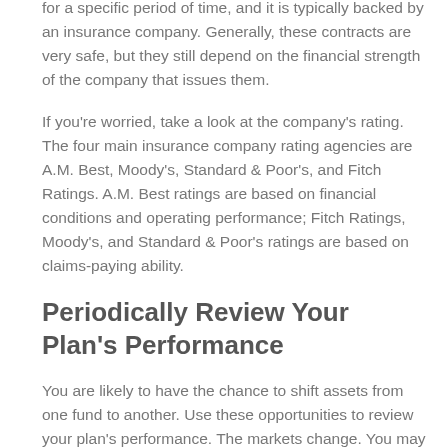A guaranteed interest contract offers a set rate of return for a specific period of time, and it is typically backed by an insurance company. Generally, these contracts are very safe, but they still depend on the financial strength of the company that issues them.
If you're worried, take a look at the company's rating. The four main insurance company rating agencies are A.M. Best, Moody's, Standard & Poor's, and Fitch Ratings. A.M. Best ratings are based on financial conditions and operating performance; Fitch Ratings, Moody's, and Standard & Poor's ratings are based on claims-paying ability.
Periodically Review Your Plan's Performance
You are likely to have the chance to shift assets from one fund to another. Use these opportunities to review your plan's performance. The markets change. You may want to adjust your investments